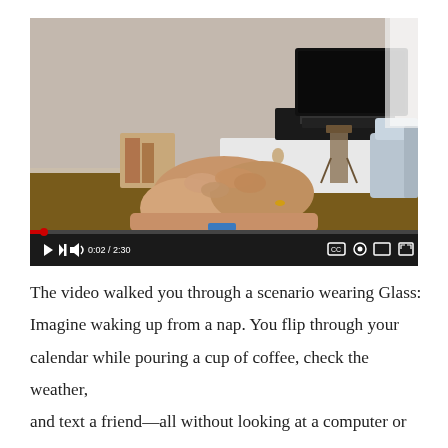[Figure (screenshot): YouTube-style video player showing a person's hands clasped on a table in a living room setting. A TV and sofa are visible in the background. The video controls show playback at 0:02 of 2:30.]
The video walked you through a scenario wearing Glass: Imagine waking up from a nap. You flip through your calendar while pouring a cup of coffee, check the weather, and text a friend—all without looking at a computer or